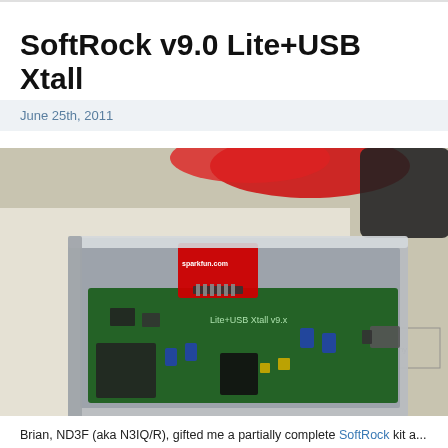SoftRock v9.0 Lite+USB Xtall
June 25th, 2011
[Figure (photo): Photo of a SoftRock Lite+USB Xtall v9.0 SDR receiver circuit board in an aluminum enclosure, with a red SparkFun breakout board attached, a USB cable connected, sitting on top of schematic papers. A red USB cable and a black device are visible in the background.]
Brian, ND3F (aka N3IQ/R), gifted me a partially complete SoftRock kit a...